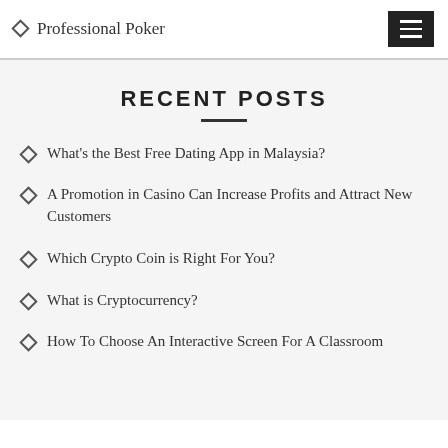Professional Poker
RECENT POSTS
What's the Best Free Dating App in Malaysia?
A Promotion in Casino Can Increase Profits and Attract New Customers
Which Crypto Coin is Right For You?
What is Cryptocurrency?
How To Choose An Interactive Screen For A Classroom